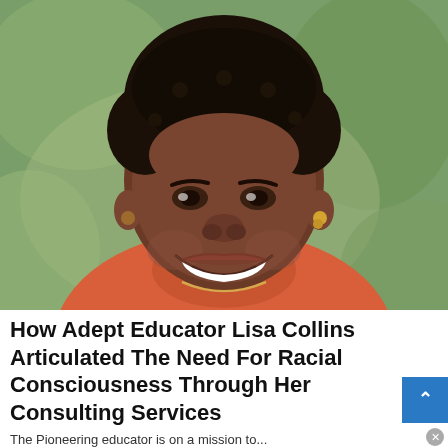[Figure (photo): Portrait photo of Lisa Collins, a smiling Black woman with short natural hair, wearing an orange/coral turtleneck sweater and a gold necklace, photographed outdoors against a blurred green background.]
How Adept Educator Lisa Collins Articulated The Need For Racial Consciousness Through Her Consulting Services
The Pioneering educator is on a mission to...